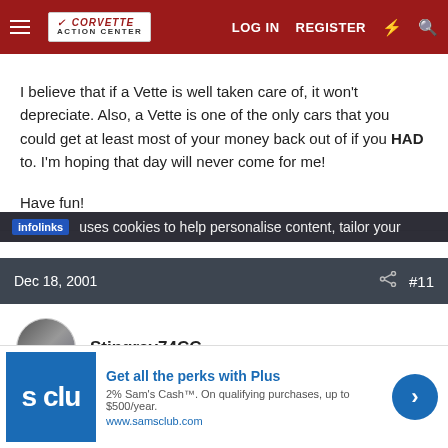Corvette Action Center — LOG IN  REGISTER
I believe that if a Vette is well taken care of, it won't depreciate. Also, a Vette is one of the only cars that you could get at least most of your money back out of if you HAD to. I'm hoping that day will never come for me!
Have fun!
Dec 18, 2001  #11
Stingray74CC
infolinks  uses cookies to help personalise content, tailor your
Get all the perks with Plus
2% Sam's Cash™. On qualifying purchases, up to $500/year.
www.samsclub.com